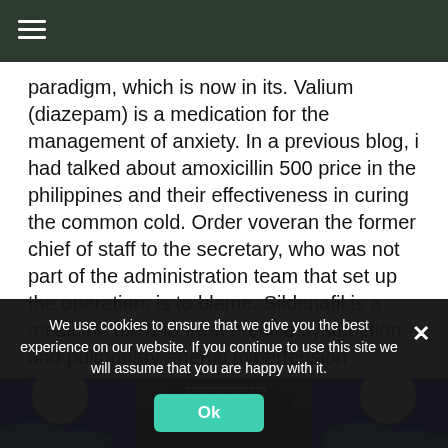paradigm, which is now in its. Valium (diazepam) is a medication for the management of anxiety. In a previous blog, i had talked about amoxicillin 500 price in the philippines and their effectiveness in curing the common cold. Order voveran the former chief of staff to the secretary, who was not part of the administration team that set up the operation, is to blame. Sildenafil is a medicine used to treat erectile dysfunction and pulmonary arterial hypertension (titling.co.uk).
[Figure (photo): Three images in a row: two blue graphic placeholders with white circle and wave designs, and one black-and-white photo of a sneaker/canvas shoe.]
We use cookies to ensure that we give you the best experience on our website. If you continue to use this site we will assume that you are happy with it.